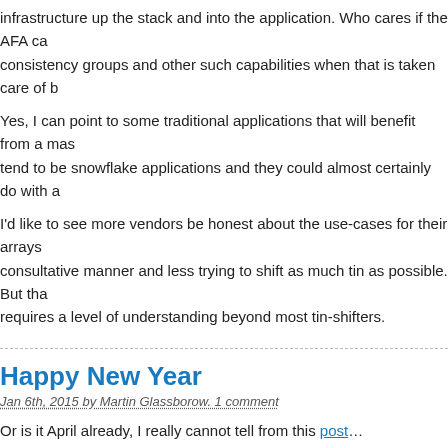infrastructure up the stack and into the application. Who cares if the AFA ca consistency groups and other such capabilities when that is taken care of b
Yes, I can point to some traditional applications that will benefit from a mas tend to be snowflake applications and they could almost certainly do with a
I'd like to see more vendors be honest about the use-cases for their arrays consultative manner and less trying to shift as much tin as possible. But tha requires a level of understanding beyond most tin-shifters.
Happy New Year
Jan 6th, 2015 by Martin Glassborow. 1 comment
Or is it April already, I really cannot tell from this post…
So I am going to kickstart a new product; AudioNAS – sounds expensive b
There are very many complaints and issues that I have dealt with when de are my user-base but never have they complained that one storage system storage system. They have never asked for better quality HDMI cables, be quality Ethernet cables because their current ones just don't render their w